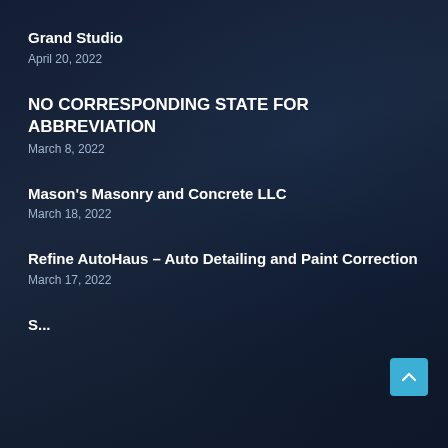Grand Studio
April 20, 2022
NO CORRESPONDING STATE FOR ABBREVIATION
March 8, 2022
Mason's Masonry and Concrete LLC
March 18, 2022
Refine AutoHaus – Auto Detailing and Paint Correction
March 17, 2022
S... (partial, cut off)